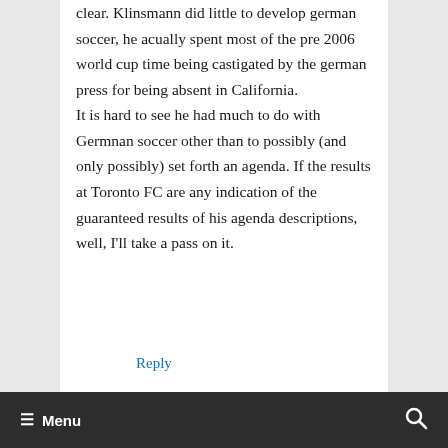clear. Klinsmann did little to develop german soccer, he acually spent most of the pre 2006 world cup time being castigated by the german press for being absent in California. It is hard to see he had much to do with Germnan soccer other than to possibly (and only possibly) set forth an agenda. If the results at Toronto FC are any indication of the guaranteed results of his agenda descriptions, well, I'll take a pass on it.
Reply
≡ Menu  🔍